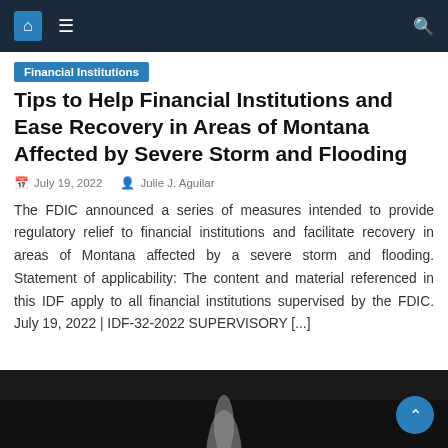Financial Institutions
Tips to Help Financial Institutions and Ease Recovery in Areas of Montana Affected by Severe Storm and Flooding
July 19, 2022   Julie J. Aguilar
The FDIC announced a series of measures intended to provide regulatory relief to financial institutions and facilitate recovery in areas of Montana affected by a severe storm and flooding. Statement of applicability: The content and material referenced in this IDF apply to all financial institutions supervised by the FDIC. July 19, 2022 | IDF-32-2022 SUPERVISORY [...]
[Figure (photo): Dark background photo showing a hand holding an object, partially visible at the bottom of the page]